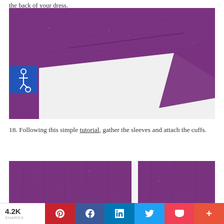the back of your dress.
[Figure (photo): Close-up of purple/violet woven fabric folded or draped, showing texture and seam detail, on white background. Accessibility icon badge overlaid on lower-left.]
18. Following this simple tutorial, gather the sleeves and attach the cuffs.
[Figure (photo): Close-up of purple/violet woven fabric showing gathered or cuffed sleeve detail, two panels side by side with white gap in center.]
4.2K SHARES  [Pinterest] [Facebook] [LinkedIn] [Twitter] [Pocket] [More]